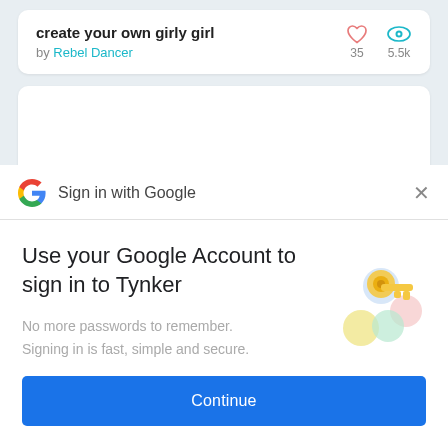create your own girly girl
by Rebel Dancer
35 | 5.5k
[Figure (screenshot): Empty white card placeholder below the content card]
[Figure (screenshot): Google Sign-in modal dialog. Header: Sign in with Google with Google G logo and X close button. Body: 'Use your Google Account to sign in to Tynker'. Subtext: 'No more passwords to remember. Signing in is fast, simple and secure.' With a key/security illustration. Blue Continue button at bottom.]
Sign in with Google
Use your Google Account to sign in to Tynker
No more passwords to remember.
Signing in is fast, simple and secure.
Continue